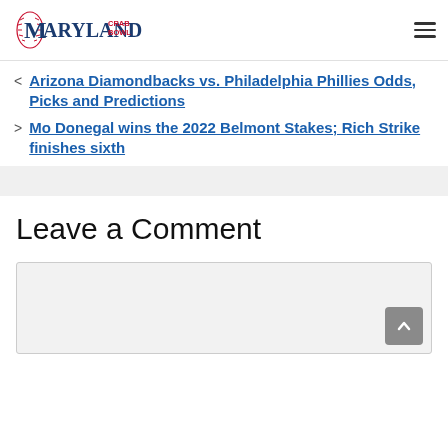MARYLAND CRAB BOWL
< Arizona Diamondbacks vs. Philadelphia Phillies Odds, Picks and Predictions
> Mo Donegal wins the 2022 Belmont Stakes; Rich Strike finishes sixth
Leave a Comment